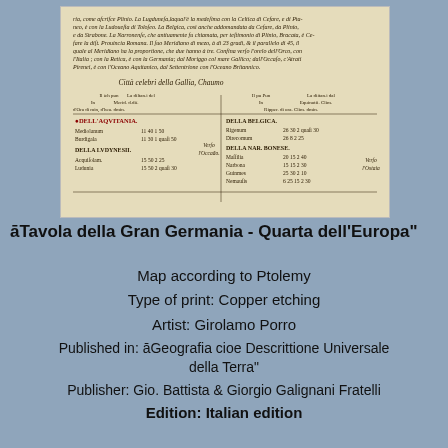[Figure (photo): Scanned page of an old Italian geographic text with columns listing cities of Gaul (Gallia) in Latin/Italian, including sections for Aquitania, Ludynese, Belgica, and Narbonese, with coordinate data.]
āTavola della Gran Germania - Quarta dell'Europa"
Map according to Ptolemy
Type of print: Copper etching
Artist: Girolamo Porro
Published in: āGeografia cioe Descrittione Universale della Terra"
Publisher: Gio. Battista & Giorgio Galignani Fratelli
Edition: Italian edition